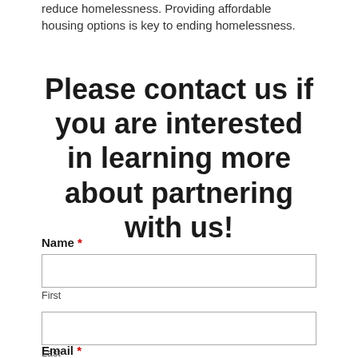reduce homelessness. Providing affordable housing options is key to ending homelessness.
Please contact us if you are interested in learning more about partnering with us!
Name *
First
Last
Email *